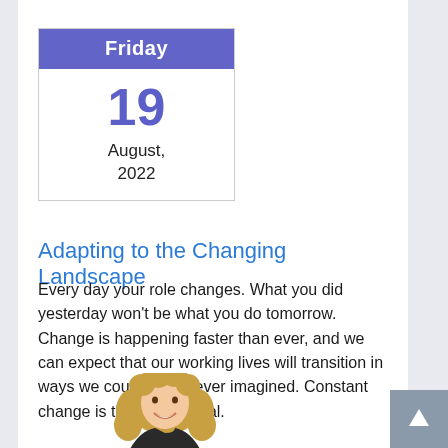[Figure (other): Calendar widget showing Friday, 19, August, 2022 with purple header and white body]
Adapting to the Changing Landscape
Every day your role changes. What you did yesterday won't be what you do tomorrow. Change is happening faster than ever, and we can expect that our working lives will transition in ways we could have never imagined. Constant change is the new normal.
[Figure (photo): Photo of a smiling woman with curly blonde hair, shown from shoulders up]